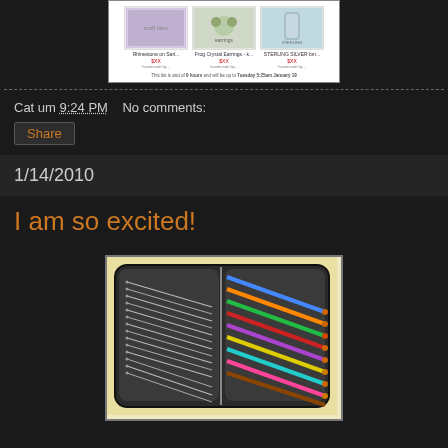[Figure (screenshot): Screenshot of an Etsy treasury/list showing three craft items with thumbnails and labels, with a footer showing the list is active for 9 hours until Tuesday 5:25am January 19]
Cat um 9:24 PM    No comments:
Share
1/14/2010
I am so excited!
[Figure (photo): Photo of a black zippered case opened to reveal a set of crochet hooks — thin steel hooks on the left side and colorful aluminum hooks on the right side, laid out on a cream/yellow background]